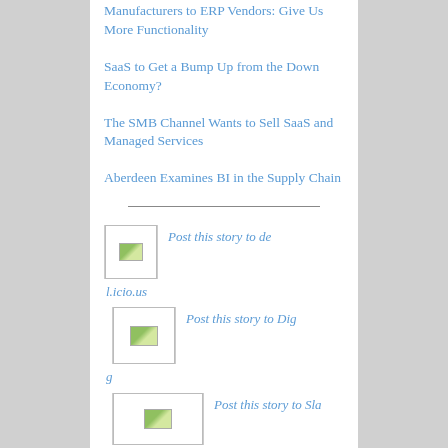Manufacturers to ERP Vendors: Give Us More Functionality
SaaS to Get a Bump Up from the Down Economy?
The SMB Channel Wants to Sell SaaS and Managed Services
Aberdeen Examines BI in the Supply Chain
[Figure (other): Social sharing icon for del.icio.us]
Post this story to del.icio.us
[Figure (other): Social sharing icon for Digg]
Post this story to Digg
[Figure (other): Social sharing icon for Slashdot]
Post this story to Slashdot